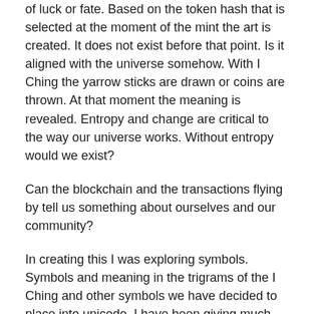of luck or fate. Based on the token hash that is selected at the moment of the mint the art is created. It does not exist before that point. Is it aligned with the universe somehow. With I Ching the yarrow sticks are drawn or coins are thrown. At that moment the meaning is revealed. Entropy and change are critical to the way our universe works. Without entropy would we exist?
Can the blockchain and the transactions flying by tell us something about ourselves and our community?
In creating this I was exploring symbols. Symbols and meaning in the trigrams of the I Ching and other symbols we have decided to place into unicode. I have been giving much thought and emotion to the concepts of gender identity lately so these symbols appear. We cannot choose certain things about ourselves as we are born that way and need the freedom to exist and be.